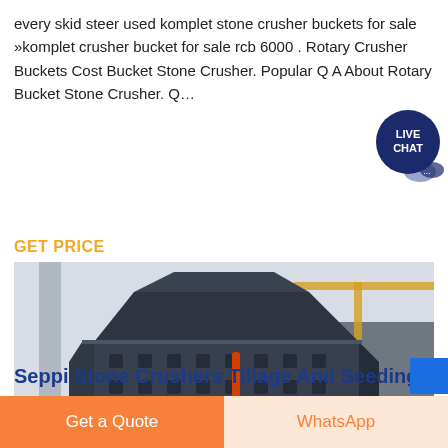every skid steer used komplet stone crusher buckets for sale »komplet crusher bucket for sale rcb 6000 . Rotary Crusher Buckets Cost Bucket Stone Crusher. Popular Q A About Rotary Bucket Stone Crusher. Q…
[Figure (other): Live Chat button/widget — dark navy blue circle with 'LIVE CHAT' text in white, with chat bubble tail, positioned top-right overlay]
GET PRICE
[Figure (photo): Photo of a large industrial stone crusher machine (impact crusher), dark gray/black metal, with bolted panels and red handles, sitting in a factory warehouse. In the background, workers and yellow crane/equipment are visible.]
Seppi Stone Crushers Tillage And Seeding
Get a Quote
WhatsApp